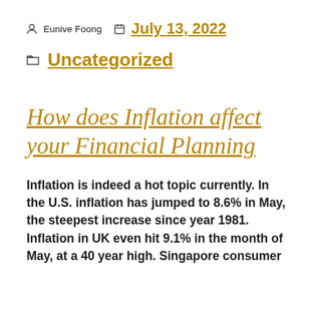Eunive Foong   July 13, 2022
Uncategorized
How does Inflation affect your Financial Planning
Inflation is indeed a hot topic currently. In the U.S. inflation has jumped to 8.6% in May, the steepest increase since year 1981. Inflation in UK even hit 9.1% in the month of May, at a 40 year high. Singapore consumer